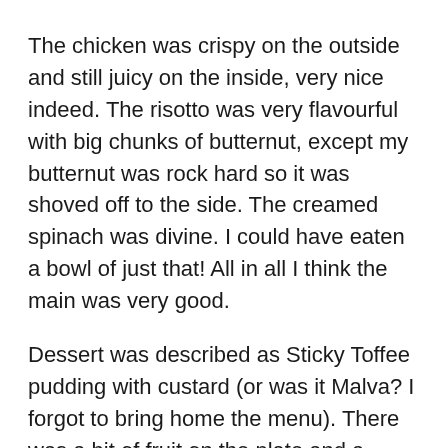The chicken was crispy on the outside and still juicy on the inside, very nice indeed. The risotto was very flavourful with big chunks of butternut, except my butternut was rock hard so it was shoved off to the side. The creamed spinach was divine. I could have eaten a bowl of just that! All in all I think the main was very good.
Dessert was described as Sticky Toffee pudding with custard (or was it Malva? I forgot to bring home the menu). There was a bit of fruit on the plate and a bizarre long thingy which tasted like a macaroon....ish. But it was nice.
[Figure (photo): Partially visible dark photograph at bottom of page, appears to show a dark-coloured dessert or food item on a plate]